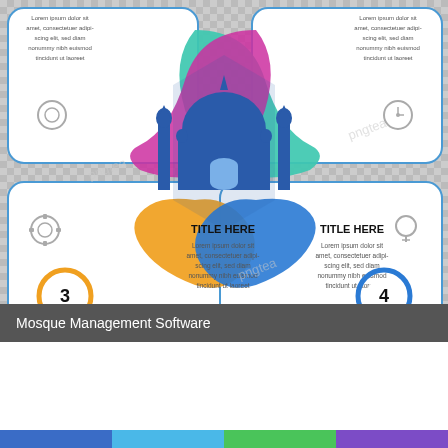[Figure (infographic): Mosque management software infographic with 4 numbered panels arranged around a central blue mosque silhouette. Panels show 'TITLE HERE' headings with Lorem ipsum placeholder text. Numbered circles 1-4 mark each panel. Colorful ribbon shapes (teal, magenta, orange, blue) connect the panels. Watermark 'pngtea' visible across image.]
Mosque Management Software
What is Mosque Management Software?